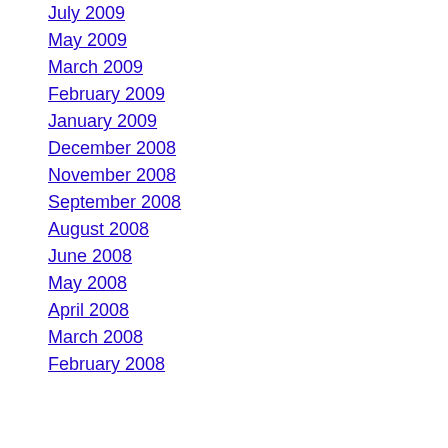July 2009
May 2009
March 2009
February 2009
January 2009
December 2008
November 2008
September 2008
August 2008
June 2008
May 2008
April 2008
March 2008
February 2008